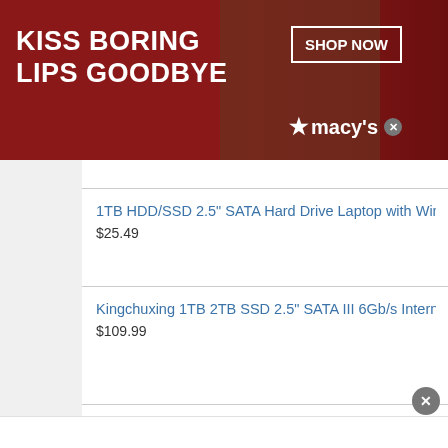[Figure (screenshot): Macy's advertisement banner with red background, text 'KISS BORING LIPS GOODBYE', a photo of a woman with red lips, 'SHOP NOW' button, and Macy's star logo]
1TB HDD/SSD 2.5" SATA Hard Drive Laptop with Windows 10 Pro In
$25.49
Kingchuxing 1TB 2TB SSD 2.5" SATA III 6Gb/s Internal Solid State D
$109.99
Contact Us  Knoppix Foru